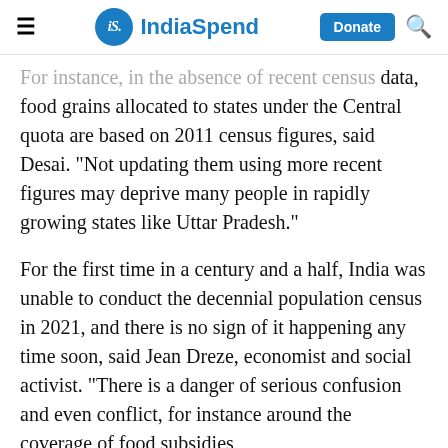IndiaSpend
For instance, in the absence of recent census data, food grains allocated to states under the Central quota are based on 2011 census figures, said Desai. "Not updating them using more recent figures may deprive many people in rapidly growing states like Uttar Pradesh."
For the first time in a century and a half, India was unable to conduct the decennial population census in 2021, and there is no sign of it happening any time soon, said Jean Dreze, economist and social activist. "There is a danger of serious confusion and even conflict, for instance around the coverage of food subsidies